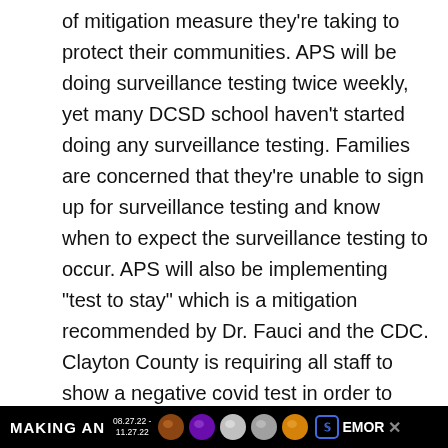of mitigation measure they're taking to protect their communities. APS will be doing surveillance testing twice weekly, yet many DCSD school haven't started doing any surveillance testing. Families are concerned that they're unable to sign up for surveillance testing and know when to expect the surveillance testing to occur. APS will also be implementing “test to stay” which is a mitigation recommended by Dr. Fauci and the CDC. Clayton County is requiring all staff to show a negative covid test in order to return to school. DCSD did offer testing this past Monday and Tuesday. Our Coalition is hearing from teachers who were the very first to get tested that they have yet to receive their results. Rockdale County will stay virtual next week.

Many schools across DCSD do not have properly fitting
MAKING AN   08.27.22 - 11.27.22   EMOR